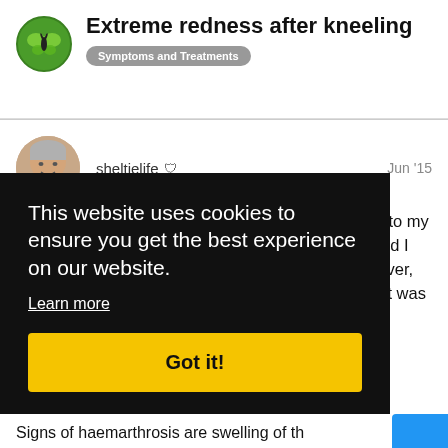Extreme redness after kneeling
Symptoms and Treatments
sheltielife  Jun '15
What you said brought back to me what happened to my shoulder a while ago. I have rheumatoid arthritis and I thought that it was that causing the problem. However, my rheumatologist sent me for an ultra sound and it was nothing to do with my joint. It was inflammation of a tendon. I have ...er if ...ut ...int ...s torn
This website uses cookies to ensure you get the best experience on our website.
Learn more
Got it!
Signs of haemarthrosis are swelling of th